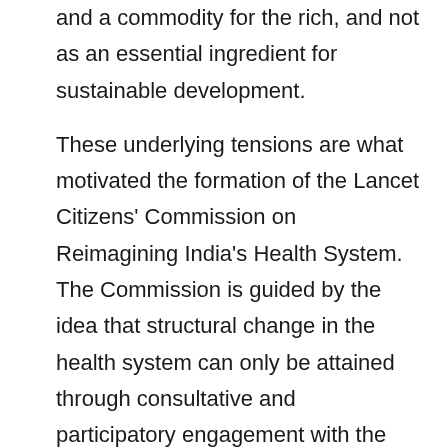and a commodity for the rich, and not as an essential ingredient for sustainable development.
These underlying tensions are what motivated the formation of the Lancet Citizens' Commission on Reimagining India's Health System. The Commission is guided by the idea that structural change in the health system can only be attained through consultative and participatory engagement with the diverse sectors involved in health care and, most importantly, with Indias citizenry. For India to achieve universal health coverage in the next decade, it is imperative to understand and negotiate the tensions inherent to: